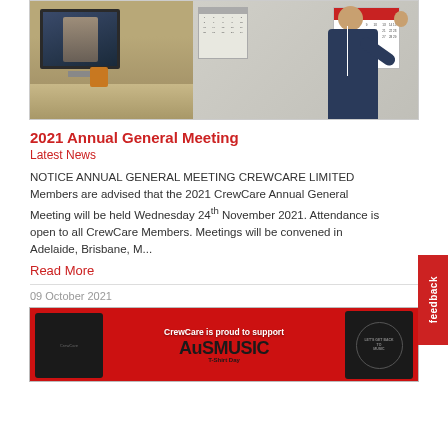[Figure (photo): Photo of a man waving at a video call on a computer monitor, with a calendar visible on the wall behind him.]
2021 Annual General Meeting
Latest News
NOTICE ANNUAL GENERAL MEETING CREWCARE LIMITED Members are advised that the 2021 CrewCare Annual General Meeting will be held Wednesday 24th November 2021. Attendance is open to all CrewCare Members. Meetings will be convened in Adelaide, Brisbane, M...
Read More
09 October 2021
[Figure (photo): Photo showing black CrewCare t-shirts on a red background with text 'CrewCare is proud to support AUSMUSIC T-Shirt Day']